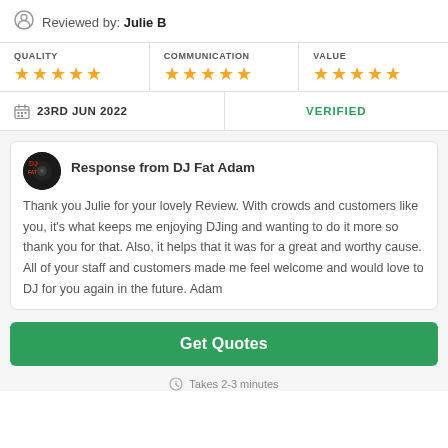Reviewed by: Julie B
QUALITY ★★★★★
COMMUNICATION ★★★★★
VALUE ★★★★★
23RD JUN 2022
VERIFIED
Response from DJ Fat Adam
Thank you Julie for your lovely Review. With crowds and customers like you, it's what keeps me enjoying DJing and wanting to do it more so thank you for that. Also, it helps that it was for a great and worthy cause. All of your staff and customers made me feel welcome and would love to DJ for you again in the future. Adam
Get Quotes
Takes 2-3 minutes